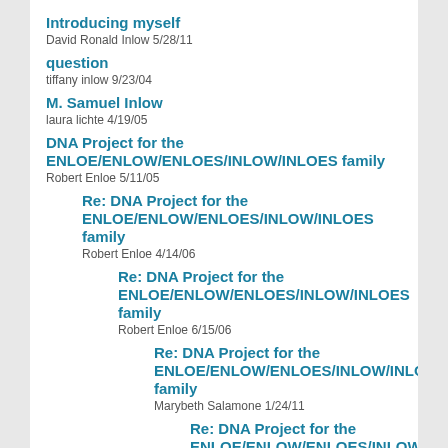Introducing myself
David Ronald Inlow 5/28/11
question
tiffany inlow 9/23/04
M. Samuel Inlow
laura lichte 4/19/05
DNA Project for the ENLOE/ENLOW/ENLOES/INLOW/INLOES family
Robert Enloe 5/11/05
Re: DNA Project for the ENLOE/ENLOW/ENLOES/INLOW/INLOES family
Robert Enloe 4/14/06
Re: DNA Project for the ENLOE/ENLOW/ENLOES/INLOW/INLOES family
Robert Enloe 6/15/06
Re: DNA Project for the ENLOE/ENLOW/ENLOES/INLOW/INLOES family
Marybeth Salamone 1/24/11
Re: DNA Project for the ENLOE/ENLOW/ENLOES/INLOW/INLOES family
Robert Enloe 1/25/11